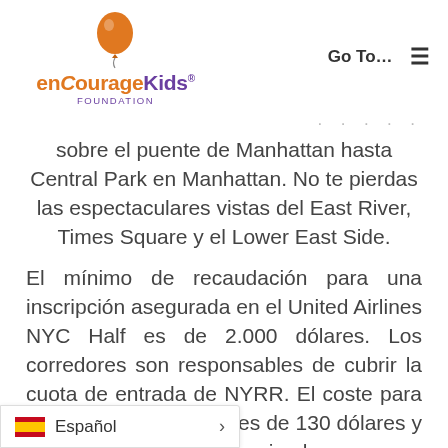[Figure (logo): enCourageKids Foundation logo with orange balloon and purple/orange text]
Go To…  ☰
sobre el puente de Manhattan hasta Central Park en Manhattan. No te pierdas las espectaculares vistas del East River, Times Square y el Lower East Side.
El mínimo de recaudación para una inscripción asegurada en el United Airlines NYC Half es de 2.000 dólares. Los corredores son responsables de cubrir la cuota de entrada de NYRR. El coste para un miembro de NYRR es de 130 dólares y 145 dólares para los no miembros.
Español